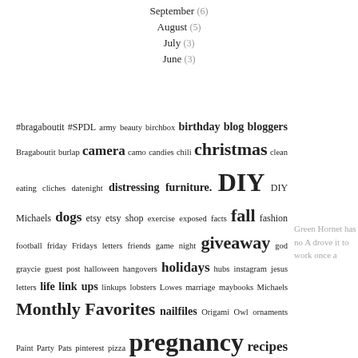September (6)
August (5)
July (3)
June (3)
[Figure (infographic): Tag cloud containing blog post tags of varying font sizes, including: #bragaboutit #SPDL army beauty birchbox birthday blog bloggers Bragaboutit burlap camera camo candies chili christmas clean eating cliches datenight distressing furniture. DIY DIY Michaels dogs etsy etsy shop exercise exposed facts fall fashion football friday Fridays letters friends game night giveaway god graycie guest post halloween hangovers holidays hubs instagram jesus letters life link ups linkups lobsters Lowes marriage maybooks Michaels Monthly Favorites nailfiles Origami Owl ornaments Paint Party Pats pinterest pizza pregnancy recipes red-neckognize shoes sister saturday snow so what wednesday sorel Sponsor strength summer sunday sushi target taste of tuesdays twitter Vintage vintage crate wedding weekend weekend recap wine work]
Green Hornet has no A drove it to work once a